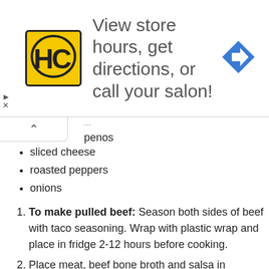[Figure (other): Advertisement banner for HC (Hair Club or similar salon) with yellow logo, text 'View store hours, get directions, or call your salon!', and a blue navigation arrow icon on the right.]
penos (partial, top cut off)
sliced cheese
roasted peppers
onions
To make pulled beef: Season both sides of beef with taco seasoning. Wrap with plastic wrap and place in fridge 2-12 hours before cooking.
Place meat, beef bone broth and salsa in pressure cooker; seal according to pressure cooker directions. Cook on high 60 minutes. Once pressure cooker is safe to open according to instructions, open and let meat rest in liquid 15 minutes.
Remove meat from liquid and place in large bowl. Carefully shred meat. Pour liquid, up to half, over meat while shredding to keep it juicy.
To make salsa and queso slaw: In large bowl, mix salsa, slaw blend, green onions, salt, queso fresco, Dijon mustard, mayo, apple cider vinegar and cilantro, if desired. Cover with